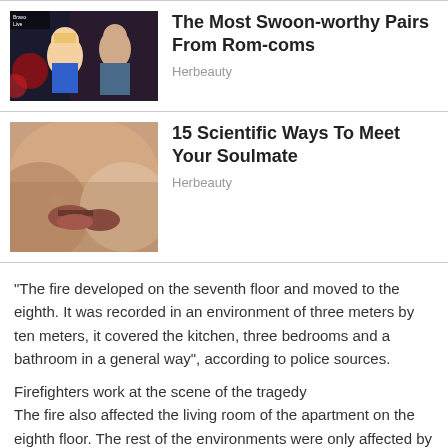[Figure (photo): Two people (a woman and a man) sitting together in what appears to be a TV show set with red lighting]
The Most Swoon-worthy Pairs From Rom-coms
Herbeauty
[Figure (photo): Close-up of two people kissing]
15 Scientific Ways To Meet Your Soulmate
Herbeauty
“The fire developed on the seventh floor and moved to the eighth. It was recorded in an environment of three meters by ten meters, it covered the kitchen, three bedrooms and a bathroom in a general way”, according to police sources.
Firefighters work at the scene of the tragedy
The fire also affected the living room of the apartment on the eighth floor. The rest of the environments were only affected by smoke and broken glass.